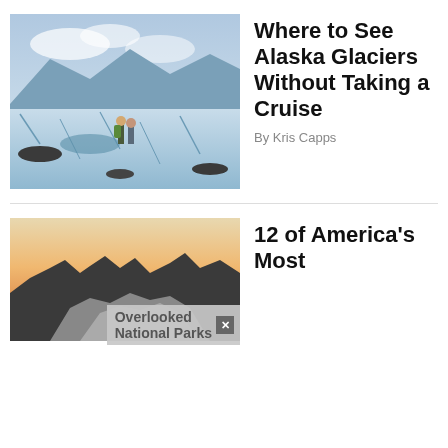[Figure (photo): Two hikers with backpacks standing on a glacier with icy blue landscape and mountains in background]
Where to See Alaska Glaciers Without Taking a Cruise
By Kris Capps
[Figure (photo): Silhouette of mountain peaks against a warm sunset sky with orange and yellow gradient]
12 of America's Most
Overlooked National Parks